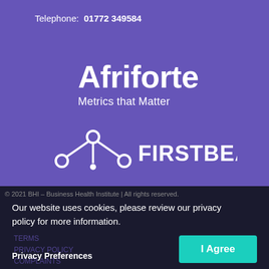Telephone: 01772 349584
[Figure (logo): Afriforte logo with text 'Afriforte' and tagline 'Metrics that Matter' on purple background]
[Figure (logo): Firstbeat logo with connected nodes icon and text 'FIRSTBEAT' on purple background]
© 2021 BHI – Business Health Institute | All rights reserved.
Our website uses cookies, please review our privacy policy for more information.
TERMS
PRIVACY POLICY
COMPLAINTS
Privacy Preferences
I Agree